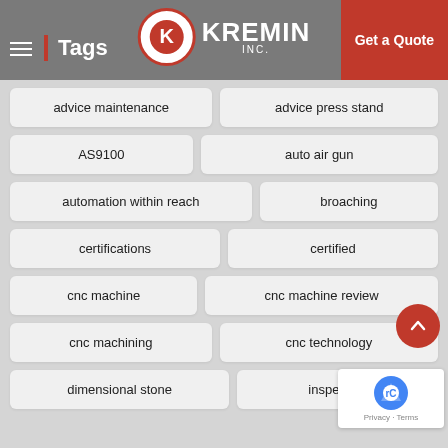Tags — Kremin Inc. — Get a Quote
advice maintenance
advice press stand
AS9100
auto air gun
automation within reach
broaching
certifications
certified
cnc machine
cnc machine review
cnc machining
cnc technology
dimensional stone
inspection